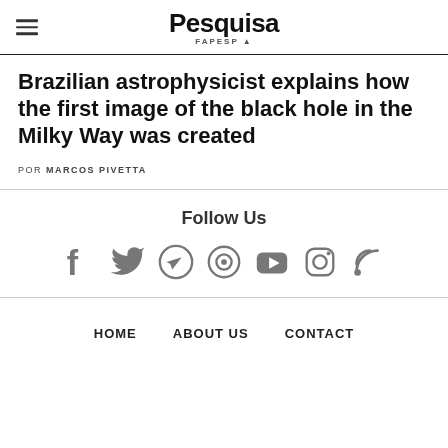Pesquisa FAPESP
Brazilian astrophysicist explains how the first image of the black hole in the Milky Way was created
POR MARCOS PIVETTA
Follow Us
[Figure (infographic): Social media icons: Facebook, Twitter, Telegram, a circular icon, YouTube, Instagram, RSS feed]
HOME   ABOUT US   CONTACT